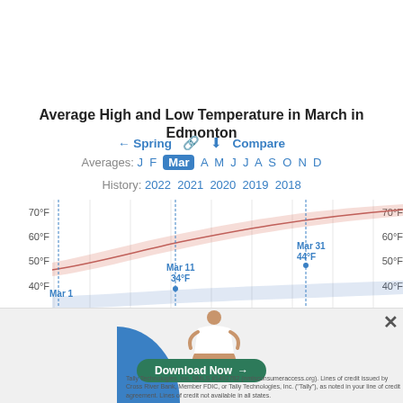Average High and Low Temperature in March in Edmonton
← Spring 🔗 ⬇ Compare
Averages: J F Mar A M J J A S O N D
History: 2022 2021 2020 2019 2018
[Figure (area-chart): Area chart showing average high and low temperatures in March in Edmonton. Pink shaded band for highs, blue shaded band for lows. Y-axis shows 40°F to 70°F on both sides. Annotations at Mar 1, Mar 11 (34°F), Mar 31 (44°F).]
[Figure (illustration): Ad overlay with meditating figure illustration, green Download Now button, blue arc shape, fine print text about Tally Technologies and credit lines, and X close button.]